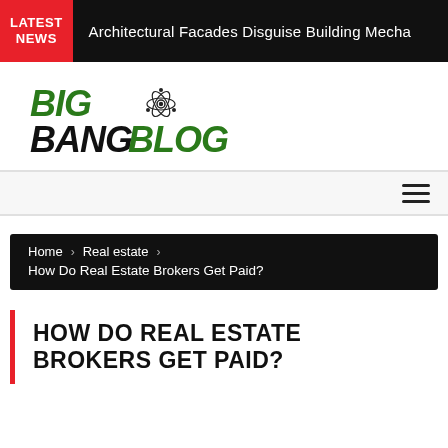LATEST NEWS  Architectural Facades Disguise Building Mecha
[Figure (logo): Big Bang Blog logo with atom icon — BIG in green italic bold, BANG BLOG in black and green italic bold]
Navigation bar with hamburger menu icon
Home > Real estate > How Do Real Estate Brokers Get Paid?
HOW DO REAL ESTATE BROKERS GET PAID?